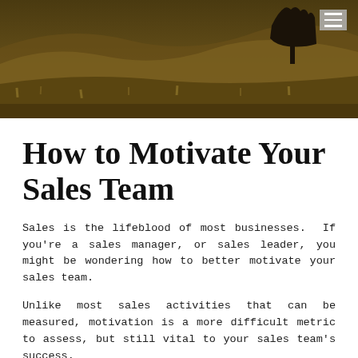[Figure (photo): Landscape hero image showing a hilly terrain with golden-brown dry grass and a dark rocky formation or tree silhouette in the background against a moody sky. A hamburger menu icon is visible in the top-right corner.]
How to Motivate Your Sales Team
Sales is the lifeblood of most businesses.  If you're a sales manager, or sales leader, you might be wondering how to better motivate your sales team.
Unlike most sales activities that can be measured, motivation is a more difficult metric to assess, but still vital to your sales team's success.
Here are a couple of ideas to help inspire your sales team.